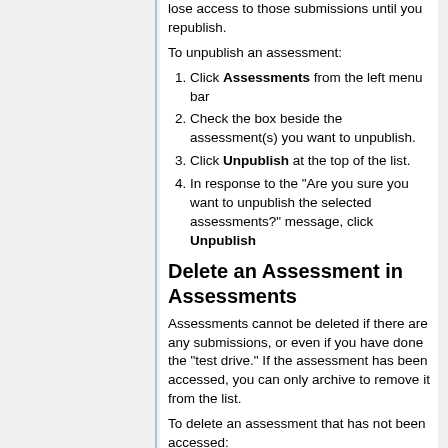lose access to those submissions until you republish.
To unpublish an assessment:
Click Assessments from the left menu bar
Check the box beside the assessment(s) you want to unpublish.
Click Unpublish at the top of the list.
In response to the "Are you sure you want to unpublish the selected assessments?" message, click Unpublish
Delete an Assessment in Assessments
Assessments cannot be deleted if there are any submissions, or even if you have done the "test drive." If the assessment has been accessed, you can only archive to remove it from the list.
To delete an assessment that has not been accessed:
Click Assessments in the left menu